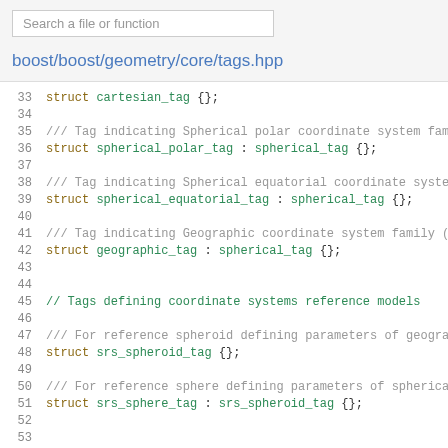[Figure (screenshot): Search box UI element with placeholder text 'Search a file or function']
boost/boost/geometry/core/tags.hpp
Code listing showing C++ struct definitions for coordinate system tags in the Boost.Geometry library, lines 33-58